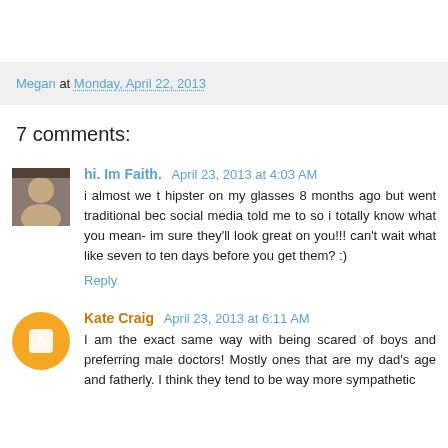Megan at Monday, April 22, 2013
7 comments:
hi. Im Faith. April 23, 2013 at 4:03 AM
i almost we t hipster on my glasses 8 months ago but went traditional bec social media told me to so i totally know what you mean- im sure they'll look great on you!!! can't wait what like seven to ten days before you get them? :)
Reply
Kate Craig April 23, 2013 at 6:11 AM
I am the exact same way with being scared of boys and preferring male doctors! Mostly ones that are my dad's age and fatherly. I think they tend to be way more sympathetic